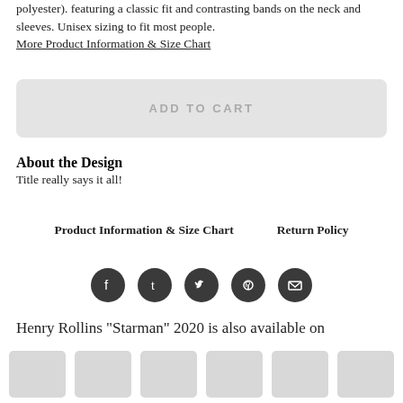polyester). featuring a classic fit and contrasting bands on the neck and sleeves. Unisex sizing to fit most people.
More Product Information & Size Chart
[Figure (other): Greyed out ADD TO CART button]
About the Design
Title really says it all!
Product Information & Size Chart    Return Policy
[Figure (other): Social media icons: Facebook, Tumblr, Twitter, Pinterest, Email]
Henry Rollins "Starman" 2020 is also available on
[Figure (other): Row of product thumbnail images]